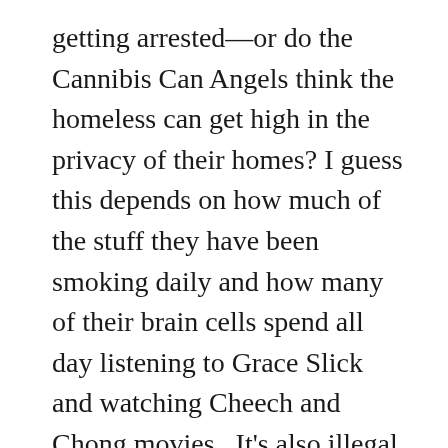getting arrested—or do the Cannibis Can Angels think the homeless can get high in the privacy of their homes? I guess this depends on how much of the stuff they have been smoking daily and how many of their brain cells spend all day listening to Grace Slick and watching Cheech and Chong movies.  It's also illegal to sell pot on the streets. But why would starving homeless people sell joints, when they can just chill out, forget their troubles, and get mellow?